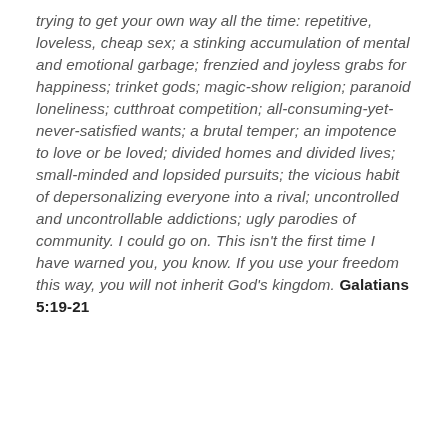trying to get your own way all the time: repetitive, loveless, cheap sex; a stinking accumulation of mental and emotional garbage; frenzied and joyless grabs for happiness; trinket gods; magic-show religion; paranoid loneliness; cutthroat competition; all-consuming-yet-never-satisfied wants; a brutal temper; an impotence to love or be loved; divided homes and divided lives; small-minded and lopsided pursuits; the vicious habit of depersonalizing everyone into a rival; uncontrolled and uncontrollable addictions; ugly parodies of community. I could go on. This isn't the first time I have warned you, you know. If you use your freedom this way, you will not inherit God's kingdom. Galatians 5:19-21